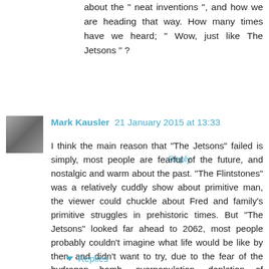about the " neat inventions ", and how we are heading that way. How many times have we heard; " Wow, just like The Jetsons " ?
Reply
Mark Kausler  21 January 2015 at 13:33
I think the main reason that "The Jetsons" failed is simply, most people are fearful of the future, and nostalgic and warm about the past. "The Flintstones" was a relatively cuddly show about primitive man, the viewer could chuckle about Fred and family's primitive struggles in prehistoric times. But "The Jetsons" looked far ahead to 2062, most people probably couldn't imagine what life would be like by then, and didn't want to try, due to the fear of the hydrogen bomb, overpopulation, depletion of resources, etc. "The Jetsons" just wasn't cuddly enough, although it tried to be.
Reply
Replies